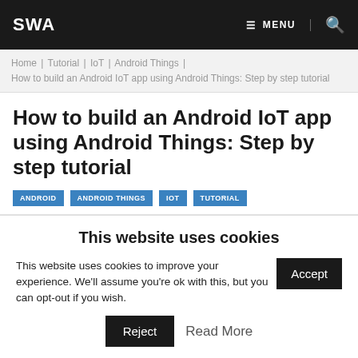SWA | MENU | (search icon)
Home | Tutorial | IoT | Android Things | How to build an Android IoT app using Android Things: Step by step tutorial
How to build an Android IoT app using Android Things: Step by step tutorial
ANDROID
ANDROID THINGS
IOT
TUTORIAL
This website uses cookies
This website uses cookies to improve your experience. We'll assume you're ok with this, but you can opt-out if you wish.
Accept
Reject
Read More